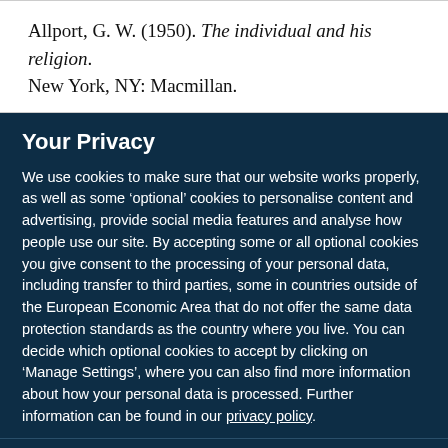Allport, G. W. (1950). The individual and his religion. New York, NY: Macmillan.
Your Privacy
We use cookies to make sure that our website works properly, as well as some ‘optional’ cookies to personalise content and advertising, provide social media features and analyse how people use our site. By accepting some or all optional cookies you give consent to the processing of your personal data, including transfer to third parties, some in countries outside of the European Economic Area that do not offer the same data protection standards as the country where you live. You can decide which optional cookies to accept by clicking on ‘Manage Settings’, where you can also find more information about how your personal data is processed. Further information can be found in our privacy policy.
Accept all cookies
Manage preferences